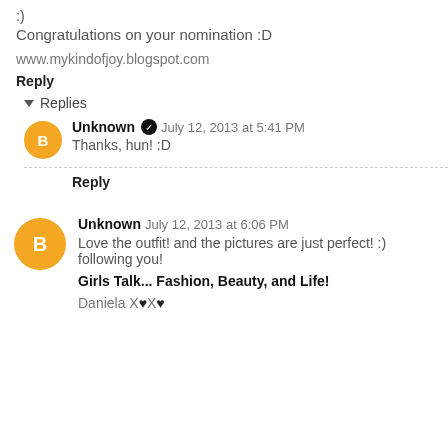:)
Congratulations on your nomination :D
www.mykindofjoy.blogspot.com
Reply
Replies
Unknown  July 12, 2013 at 5:41 PM
Thanks, hun! :D
Reply
Unknown  July 12, 2013 at 6:06 PM
Love the outfit! and the pictures are just perfect! :) following you!
Girls Talk... Fashion, Beauty, and Life!
Daniela X♥X♥